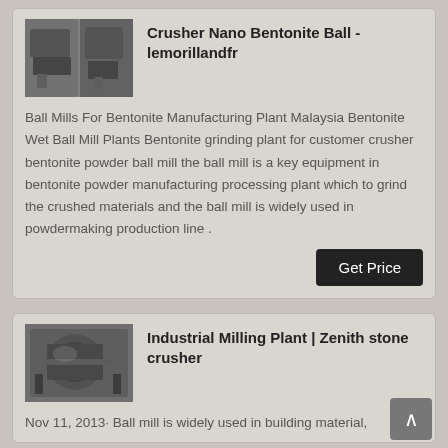[Figure (photo): Photo of industrial milling/ball mill equipment facility, two-panel composite image]
Crusher Nano Bentonite Ball - lemorillandfr
Ball Mills For Bentonite Manufacturing Plant Malaysia Bentonite Wet Ball Mill Plants Bentonite grinding plant for customer crusher bentonite powder ball mill the ball mill is a key equipment in bentonite powder manufacturing processing plant which to grind the crushed materials and the ball mill is widely used in powdermaking production line .
[Figure (photo): Photo of industrial milling plant / stone crusher equipment in a facility]
Industrial Milling Plant | Zenith stone crusher
Nov 11, 2013· Ball mill is widely used in building material,